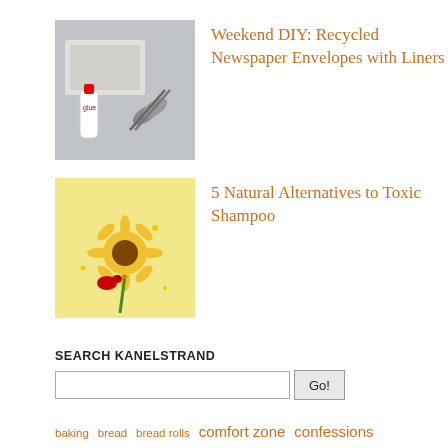[Figure (photo): Thumbnail image of scissors, glue bottle and newspaper on a table for DIY envelope project]
Weekend DIY: Recycled Newspaper Envelopes with Liners
[Figure (photo): Thumbnail illustration of a sunflower and a red bird on a yellow background for shampoo alternatives article]
5 Natural Alternatives to Toxic Shampoo
SEARCH KANELSTRAND
baking  bread  bread rolls  comfort zone  confessions  conscious living  creativity  downloads  eco home  environment  expeditions  frugal tips  healthy kitchen  healthy living  herbal remedies  home remedies  homemade shampoo  natural beauty  recipes  natural cleaning